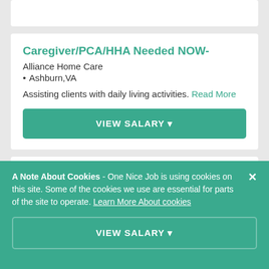Caregiver/PCA/HHA Needed NOW-
Alliance Home Care
• Ashburn,VA
Assisting clients with daily living activities. Read More
VIEW SALARY
Dietary Aide
ProMedica Skilled Nursing and
A Note About Cookies - One Nice Job is using cookies on this site. Some of the cookies we use are essential for parts of the site to operate. Learn More About cookies
VIEW SALARY